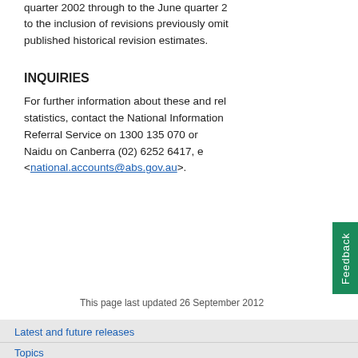quarter 2002 through to the June quarter 2012 due to the inclusion of revisions previously omitted from published historical revision estimates.
INQUIRIES
For further information about these and related statistics, contact the National Information and Referral Service on 1300 135 070 or Naidu on Canberra (02) 6252 6417, email <national.accounts@abs.gov.au>.
This page last updated 26 September 2012
Latest and future releases
Topics
Data by region